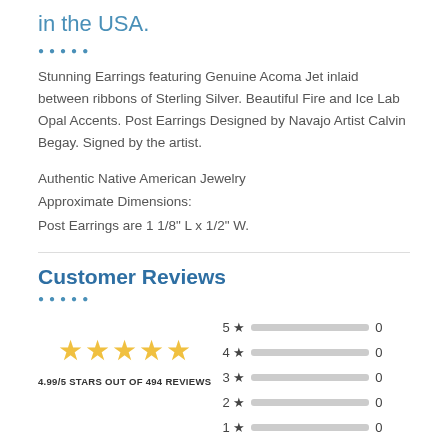in the USA.
Stunning Earrings featuring Genuine Acoma Jet inlaid between ribbons of Sterling Silver. Beautiful Fire and Ice Lab Opal Accents. Post Earrings Designed by Navajo Artist Calvin Begay. Signed by the artist.
Authentic Native American Jewelry
Approximate Dimensions:
Post Earrings are 1 1/8" L x 1/2" W.
Customer Reviews
[Figure (other): Star rating display showing 4.99/5 stars out of 494 reviews with five yellow stars, and a bar chart showing distribution of 5-star through 1-star ratings, all showing 0 counts.]